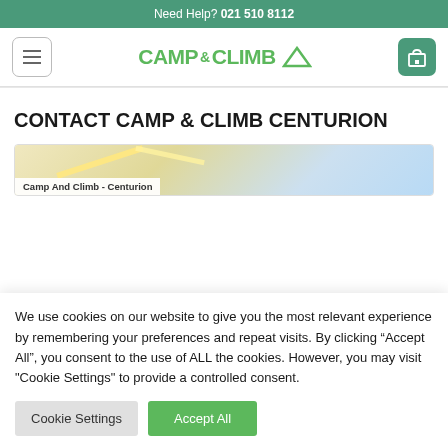Need Help? 021 510 8112
[Figure (logo): Camp & Climb logo with tent icon, green text]
CONTACT CAMP & CLIMB CENTURION
[Figure (map): Partial Google Maps view showing Camp And Climb - Centurion location]
We use cookies on our website to give you the most relevant experience by remembering your preferences and repeat visits. By clicking “Accept All”, you consent to the use of ALL the cookies. However, you may visit "Cookie Settings" to provide a controlled consent.
Cookie Settings | Accept All